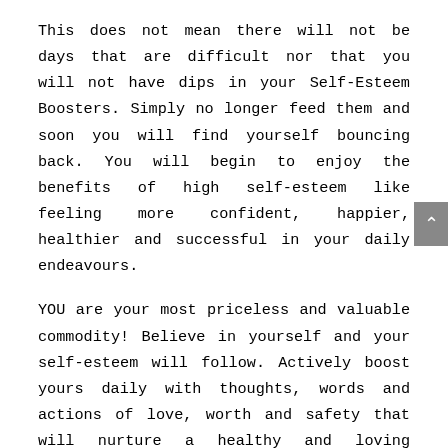This does not mean there will not be days that are difficult nor that you will not have dips in your Self-Esteem Boosters. Simply no longer feed them and soon you will find yourself bouncing back. You will begin to enjoy the benefits of high self-esteem like feeling more confident, happier, healthier and successful in your daily endeavours.
YOU are your most priceless and valuable commodity! Believe in yourself and your self-esteem will follow. Actively boost yours daily with thoughts, words and actions of love, worth and safety that will nurture a healthy and loving connection and web of self-esteem. This is not to be confused with arrogance!